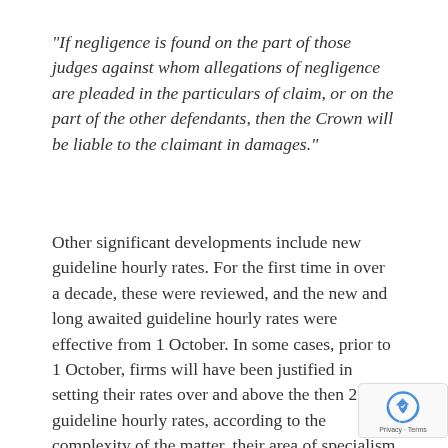“If negligence is found on the part of those judges against whom allegations of negligence are pleaded in the particulars of claim, or on the part of the other defendants, then the Crown will be liable to the claimant in damages.”
Other significant developments include new guideline hourly rates. For the first time in over a decade, these were reviewed, and the new and long awaited guideline hourly rates were effective from 1 October. In some cases, prior to 1 October, firms will have been justified in setting their rates over and above the then 2010 guideline hourly rates, according to the complexity of the matter, their area of specialism and location of office which been allowed by the SCCO. While there is no d… that costs arguments, including about the hou…